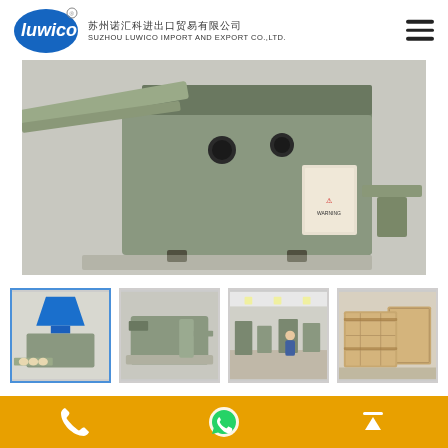SUZHOU LUWICO IMPORT AND EXPORT CO.,LTD.
[Figure (photo): Close-up of a semi-automatic tabletop fried dumpling making machine, metallic green body with dials and warning sticker]
[Figure (photo): Four thumbnail product images: (1) machine with blue funnel and formed dumplings, (2) machine on table, (3) factory floor with workers, (4) wooden crate packaging]
Semi automatic tabletop fried dumpling making machine